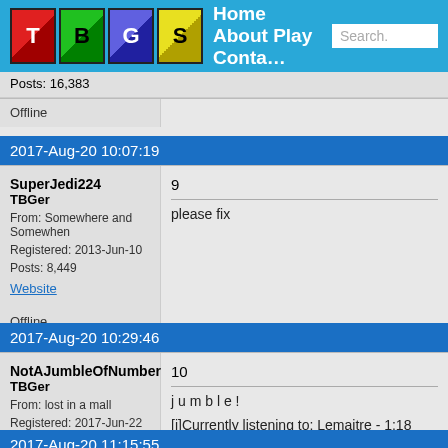[Figure (screenshot): TBGS website navigation bar with logo tiles T, B, G, S and nav links Home About Play Conta... and a search box]
Posts: 16,383
Offline
2017-Aug-20  10:07:19
SuperJedi224
TBGer
From: Somewhere and Somewhen
Registered: 2013-Jun-10
Posts: 8,449
Website
Offline
9
please fix
2017-Aug-20  10:29:46
NotAJumbleOfNumbers
TBGer
From: lost in a mall
Registered: 2017-Jun-22
Posts: 16,383
Website
Offline
10
j u m b l e !
[i]Currently listening to: Lemaitre - 1:18
2017-Aug-20  11:15:55